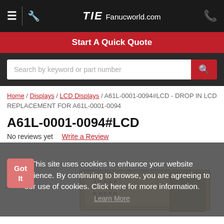TIE Fanucworld.com
Start A Quick Quote
Search by keyword or part number
Home / Displays / LCD Displays / A61L-0001-0094#LCD - DROP IN LCD REPLACEMENT FOR A61L-0001-0094
A61L-0001-0094#LCD
No reviews yet  Write a Review
Part Title:
A61L-0001-0094 DROP IN LCD REPLACEMENT FOR A61L-0001-0094
[Figure (screenshot): Cookie consent overlay on page showing product image of electronic component (LCD replacement unit). Overlay text: 'This site uses cookies to enhance your website experience. By continuing to browse, you are agreeing to our use of cookies. Click here for more information.' with Learn More link and Got It button.]
This site uses cookies to enhance your website experience. By continuing to browse, you are agreeing to our use of cookies. Click here for more information.
Learn More